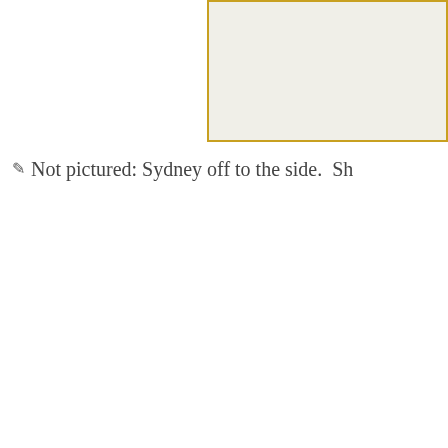[Figure (photo): Top partial photo frame with golden/amber border, mostly white/light content, cropped at top of page]
Not pictured: Sydney off to the side.  Sh
[Figure (photo): Photo of two young girls hugging and smiling at an amusement park (appears to be Disneyland), one wearing a pink flower headband. Background shows park walkway with people and trees.]